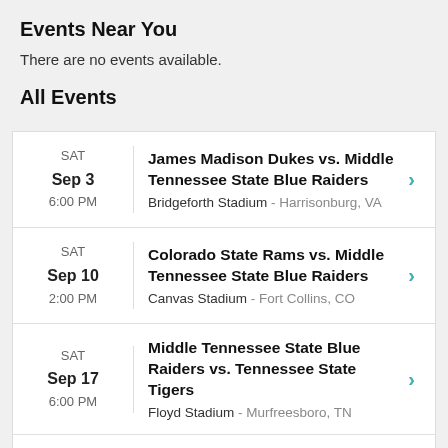Events Near You
There are no events available.
All Events
| Date | Event |  |
| --- | --- | --- |
| SAT
Sep 3
6:00 PM | James Madison Dukes vs. Middle Tennessee State Blue Raiders
Bridgeforth Stadium - Harrisonburg, VA | > |
| SAT
Sep 10
2:00 PM | Colorado State Rams vs. Middle Tennessee State Blue Raiders
Canvas Stadium - Fort Collins, CO | > |
| SAT
Sep 17
6:00 PM | Middle Tennessee State Blue Raiders vs. Tennessee State Tigers
Floyd Stadium - Murfreesboro, TN | > |
| SAT | Miami Hurricanes vs. Middle | > |